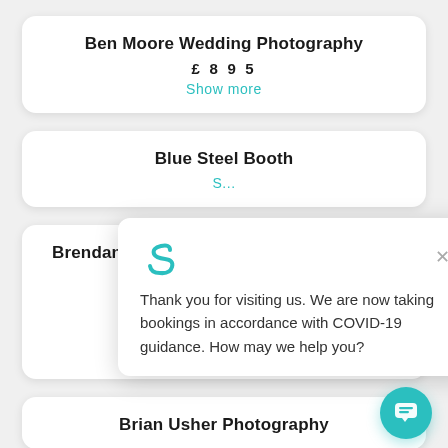Ben Moore Wedding Photography
£ 8 9 5
Show more
Blue Steel Booth
S...
[Figure (screenshot): Chat popup overlay with logo and message: Thank you for visiting us. We are now taking bookings in accordance with COVID-19 guidance. How may we help you?]
Brendan Bi...
Show more
Brian Usher Photography